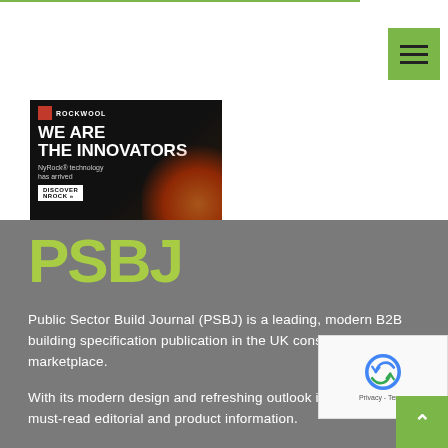[Figure (screenshot): Hamburger menu button with green background and three horizontal lines icon, positioned top right]
[Figure (advertisement): Rockwool advertisement banner with black background, orange glow effect, headline 'WE ARE THE INNOVATORS', NyRock technology text, and DISCOVER NROCK button]
PSBJ
Public Sector Build Journal (PSBJ) is a leading, modern B2B building specification publication in the UK construction marketplace.
With its modern design and refreshing outlook it prov... must-read editorial and product information.
[Figure (other): reCAPTCHA widget overlay showing Privacy - Terms]
[Figure (other): Back to top arrow button with green background]